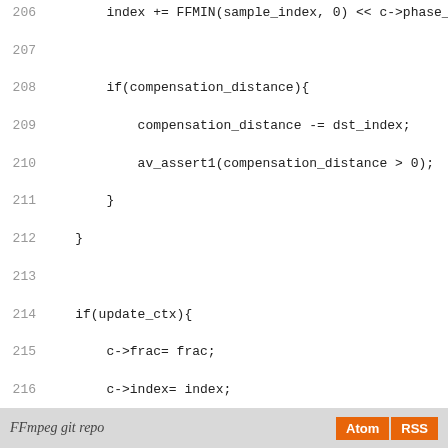[Figure (screenshot): Source code listing showing lines 206-234 of an FFmpeg C source file, including compensation_distance logic, update_ctx block, return statement, and a series of #undef preprocessor directives.]
FFmpeg git repo   Atom  RSS